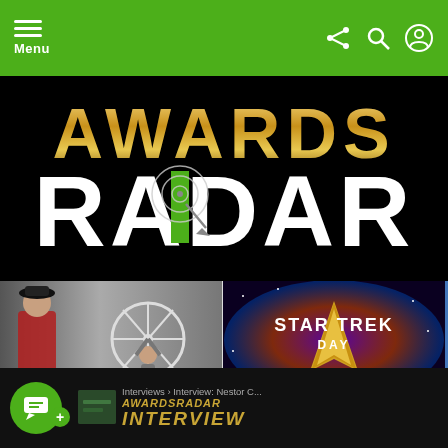Menu
[Figure (logo): Awards Radar logo — 'AWARDS' in gold metallic lettering above 'RADAR' in large white bold text with green radar/satellite icon replacing the letter D, on black background]
[Figure (photo): Black and white photo of two figures — a woman in red coat and a person holding up a bicycle wheel overhead]
JOEY'S HOME MOVIES FOR THE WEEK OF AUGUST 22ND – STARTING TO GET INTO A FILM FESTIVAL FRAME OF MIND
[Figure (photo): Star Trek Day promotional image — golden Starfleet delta badge on colorful nebula background with text STAR TREK DAY]
'STAR TREK' DAY TO BE CELEBRATED ON SEPTEMBER 8TH
[Figure (photo): Partial photo — partially visible, appears to be a colorful film or book related image]
FILM REVI... ONE STRA...
Interviews › Interview: Nestor C... | AWARDSRADAR INTERVIEW